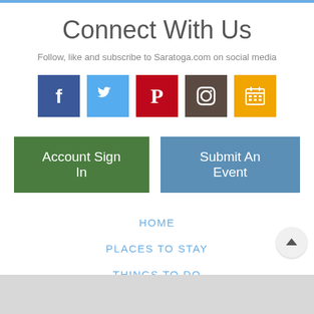Connect With Us
Follow, like and subscribe to Saratoga.com on social media
[Figure (infographic): Five social media icon buttons: Facebook (blue), Twitter (light blue), Pinterest (dark red), Instagram (brown), Calendar/events (gold/orange)]
Account Sign In
Submit An Event
HOME
PLACES TO STAY
THINGS TO DO
FOOD & DRINK